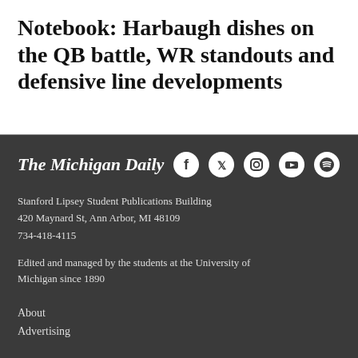Notebook: Harbaugh dishes on the QB battle, WR standouts and defensive line developments
[Figure (logo): The Michigan Daily logo in blackletter/old English style font, white text on dark background]
[Figure (infographic): Social media icons: Facebook, Twitter, Instagram, YouTube, Spotify — white icons on dark background]
Stanford Lipsey Student Publications Building
420 Maynard St, Ann Arbor, MI 48109
734-418-4115
Edited and managed by the students at the University of Michigan since 1890
About
Advertising